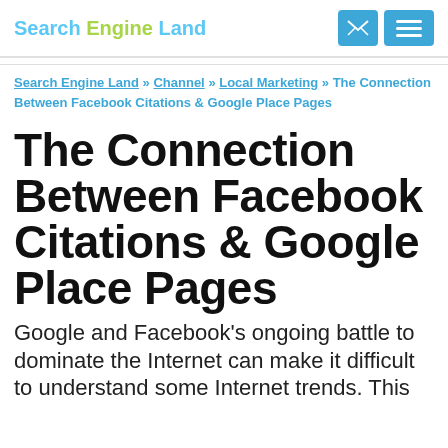Search Engine Land
Search Engine Land » Channel » Local Marketing » The Connection Between Facebook Citations & Google Place Pages
The Connection Between Facebook Citations & Google Place Pages
Google and Facebook's ongoing battle to dominate the Internet can make it difficult to understand some Internet trends. This